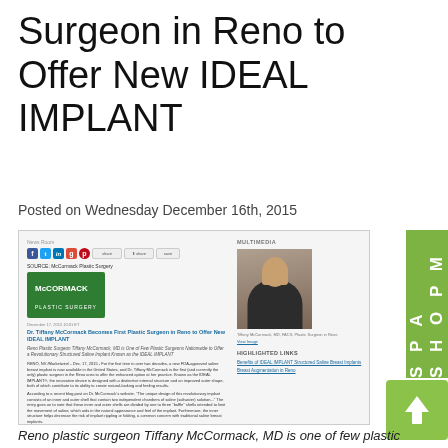Surgeon in Reno to Offer New IDEAL IMPLANT
Posted on Wednesday December 16th, 2015
[Figure (screenshot): Screenshot of a press release page from McCormack Plastic Surgery newsroom, showing headline 'Dr. Tiffany McCormack Becomes First Plastic Surgeon in Reno to Offer New IDEAL IMPLANT', social share icons, McCormack Plastic Surgery logo, date December 17, 2015, body text, and a photo of Tiffany McCormack MD, with highlighted links section.]
Reno plastic surgeon Tiffany McCormack, MD is one of few plastic surgeons nationwide to offer a revolutionary structured